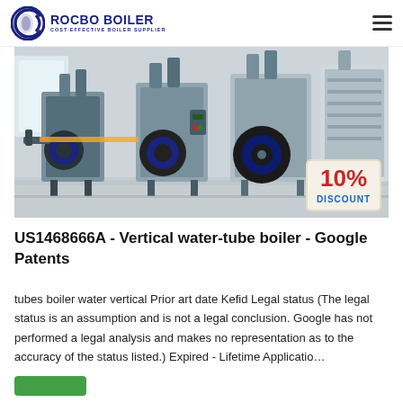ROCBO BOILER — COST-EFFECTIVE BOILER SUPPLIER
[Figure (photo): Industrial vertical water-tube boilers installed in a facility, showing multiple boiler units with dark blue burner assemblies and grey metal casings, with a 10% DISCOUNT badge overlay in the bottom right corner.]
US1468666A - Vertical water-tube boiler - Google Patents
tubes boiler water vertical Prior art date Kefid Legal status (The legal status is an assumption and is not a legal conclusion. Google has not performed a legal analysis and makes no representation as to the accuracy of the status listed.) Expired - Lifetime Applicatio…